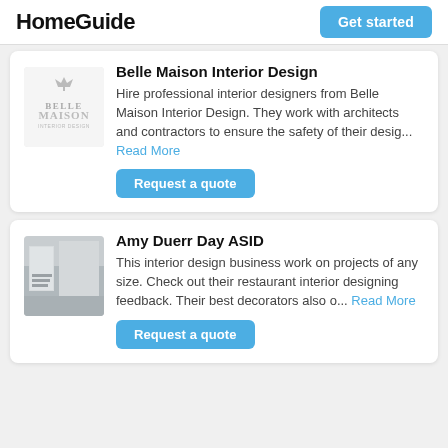HomeGuide   Get started
Belle Maison Interior Design
Hire professional interior designers from Belle Maison Interior Design. They work with architects and contractors to ensure the safety of their desig… Read More
Request a quote
Amy Duerr Day ASID
This interior design business work on projects of any size. Check out their restaurant interior designing feedback. Their best decorators also o… Read More
Request a quote